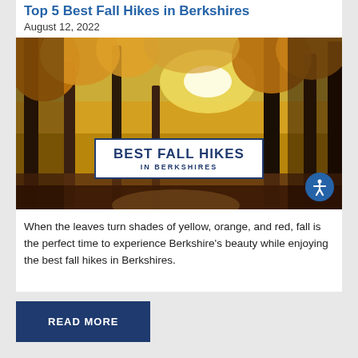Top 5 Best Fall Hikes in Berkshires
August 12, 2022
[Figure (photo): Autumn forest with golden and orange leaves, sunlight streaming through tall trees, with overlay text box reading 'BEST FALL HIKES IN BERKSHIRES']
When the leaves turn shades of yellow, orange, and red, fall is the perfect time to experience Berkshire's beauty while enjoying the best fall hikes in Berkshires.
READ MORE